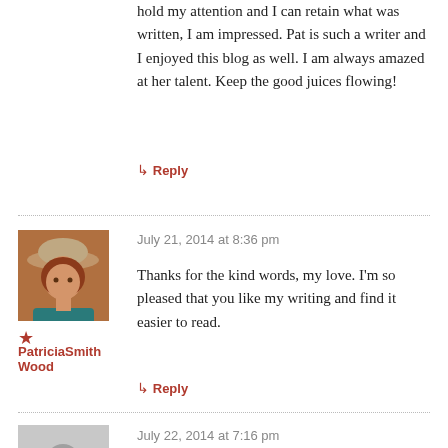hold my attention and I can retain what was written, I am impressed. Pat is such a writer and I enjoyed this blog as well. I am always amazed at her talent. Keep the good juices flowing!
↳ Reply
July 21, 2014 at 8:36 pm
[Figure (photo): Profile photo of a woman wearing a hat, dressed in blue, outdoors]
PatriciaSmithWood
Thanks for the kind words, my love. I'm so pleased that you like my writing and find it easier to read.
↳ Reply
[Figure (photo): Grey placeholder avatar silhouette]
July 22, 2014 at 7:16 pm